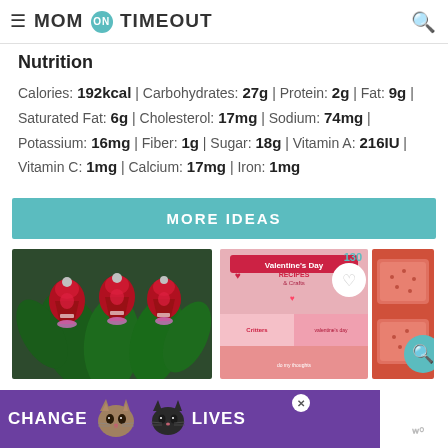MOM on TIMEOUT
Nutrition
Calories: 192kcal | Carbohydrates: 27g | Protein: 2g | Fat: 9g | Saturated Fat: 6g | Cholesterol: 17mg | Sodium: 74mg | Potassium: 16mg | Fiber: 1g | Sugar: 18g | Vitamin A: 216IU | Vitamin C: 1mg | Calcium: 17mg | Iron: 1mg
MORE IDEAS
[Figure (photo): Chocolate roses made with Hershey Kisses and green leaves, arranged as flower bouquet]
[Figure (photo): Valentine's Day Recipes and Crafts collage showing hearts, critters, and treats]
[Figure (photo): Red and pink rice crispy treat squares]
[Figure (photo): Advertisement bar reading CHANGE LIVES with two cats]